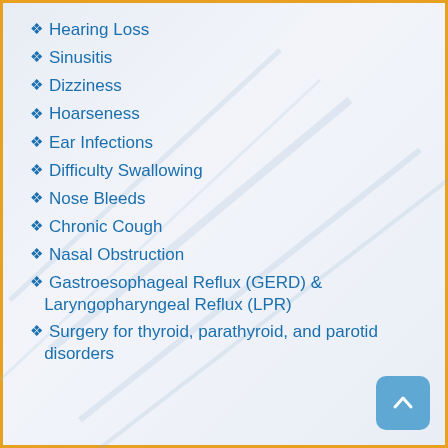Hearing Loss
Sinusitis
Dizziness
Hoarseness
Ear Infections
Difficulty Swallowing
Nose Bleeds
Chronic Cough
Nasal Obstruction
Gastroesophageal Reflux (GERD) & Laryngopharyngeal Reflux (LPR)
Surgery for thyroid, parathyroid, and parotid disorders